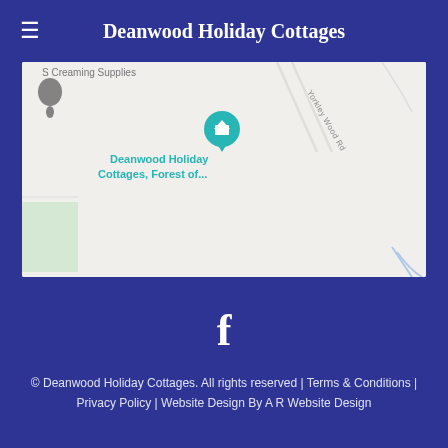Deanwood Holiday Cottages
[Figure (map): Google Maps view showing Deanwood Holiday Cottages, Forest of... location pin with Yorkley Wood Rd label, green area on left]
[Figure (logo): Facebook icon (f) in white on dark blue background]
© Deanwood Holiday Cottages. All rights reserved | Terms & Conditions | Privacy Policy | Website Design By A R Website Design